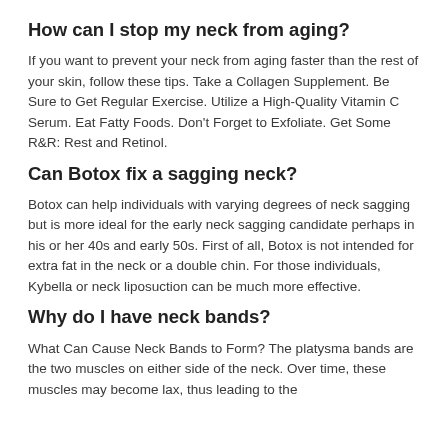How can I stop my neck from aging?
If you want to prevent your neck from aging faster than the rest of your skin, follow these tips. Take a Collagen Supplement. Be Sure to Get Regular Exercise. Utilize a High-Quality Vitamin C Serum. Eat Fatty Foods. Don't Forget to Exfoliate. Get Some R&R: Rest and Retinol.
Can Botox fix a sagging neck?
Botox can help individuals with varying degrees of neck sagging but is more ideal for the early neck sagging candidate perhaps in his or her 40s and early 50s. First of all, Botox is not intended for extra fat in the neck or a double chin. For those individuals, Kybella or neck liposuction can be much more effective.
Why do I have neck bands?
What Can Cause Neck Bands to Form? The platysma bands are the two muscles on either side of the neck. Over time, these muscles may become lax, thus leading to the